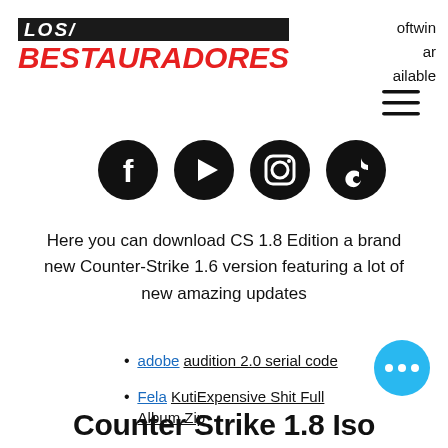[Figure (logo): Los Bestauradores logo — black box with white italic LOS text above red italic BESTAURADORES text]
oftwin ar ailable
[Figure (other): Hamburger menu icon (three horizontal lines)]
[Figure (other): Social media icons row: Facebook, YouTube, Instagram, TikTok — black circular icons]
Here you can download CS 1.8 Edition a brand new Counter-Strike 1.6 version featuring a lot of new amazing updates
adobe audition 2.0 serial code
Fela KutiExpensive Shit Full Album Zip
[Figure (other): Blue circular chat button with three white dots]
Counter Strike 1.8 Iso